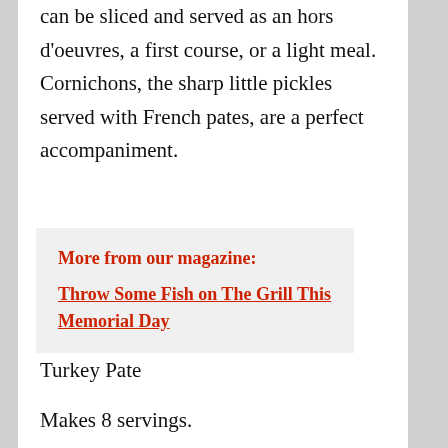can be sliced and served as an hors d'oeuvres, a first course, or a light meal. Cornichons, the sharp little pickles served with French pates, are a perfect accompaniment.
More from our magazine: Throw Some Fish on The Grill This Memorial Day
Turkey Pate
Makes 8 servings.